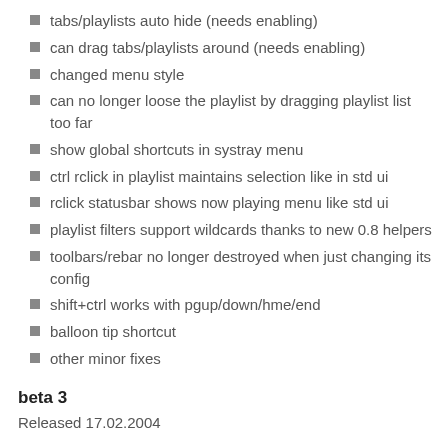tabs/playlists auto hide (needs enabling)
can drag tabs/playlists around (needs enabling)
changed menu style
can no longer loose the playlist by dragging playlist list too far
show global shortcuts in systray menu
ctrl rclick in playlist maintains selection like in std ui
rclick statusbar shows now playing menu like std ui
playlist filters support wildcards thanks to new 0.8 helpers
toolbars/rebar no longer destroyed when just changing its config
shift+ctrl works with pgup/down/hme/end
balloon tip shortcut
other minor fixes
beta 3
Released 17.02.2004